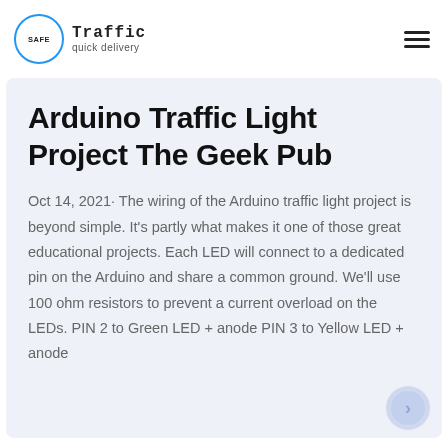SAFE Traffic quick delivery
Arduino Traffic Light Project The Geek Pub
Oct 14, 2021· The wiring of the Arduino traffic light project is beyond simple. It's partly what makes it one of those great educational projects. Each LED will connect to a dedicated pin on the Arduino and share a common ground. We'll use 100 ohm resistors to prevent a current overload on the LEDs. PIN 2 to Green LED + anode PIN 3 to Yellow LED + anode